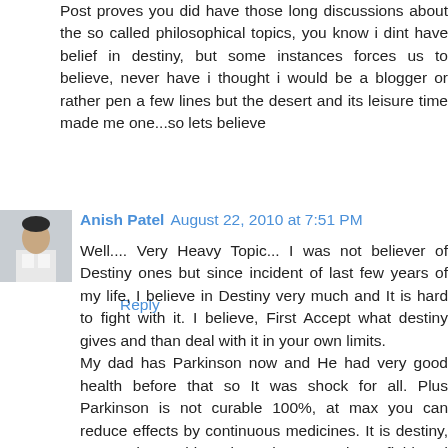Post proves you did have those long discussions about the so called philosophical topics, you know i dint have belief in destiny, but some instances forces us to believe, never have i thought i would be a blogger or rather pen a few lines but the desert and its leisure time made me one...so lets believe
Reply
Anish Patel  August 22, 2010 at 7:51 PM
Well.... Very Heavy Topic... I was not believer of Destiny ones but since incident of last few years of my life, I believe in Destiny very much and It is hard to fight with it. I believe, First Accept what destiny gives and than deal with it in your own limits.
My dad has Parkinson now and He had very good health before that so It was shock for all. Plus Parkinson is not curable 100%, at max you can reduce effects by continuous medicines. It is destiny, I can't do anything about that. I am in IT field and Surat is not the place for IT, my hometown. It is also destiny. I can not do anything about this but still I want to take care of my dad, so what I